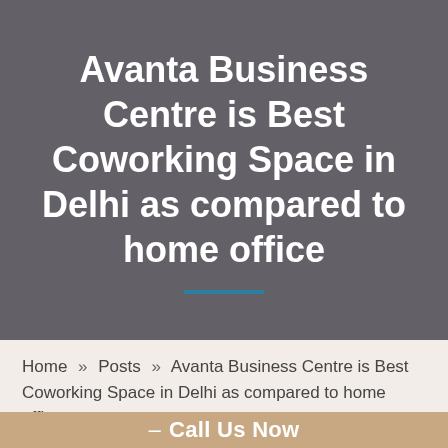Avanta Business Centre is Best Coworking Space in Delhi as compared to home office
Home » Posts » Avanta Business Centre is Best Coworking Space in Delhi as compared to home office
– Call Us Now